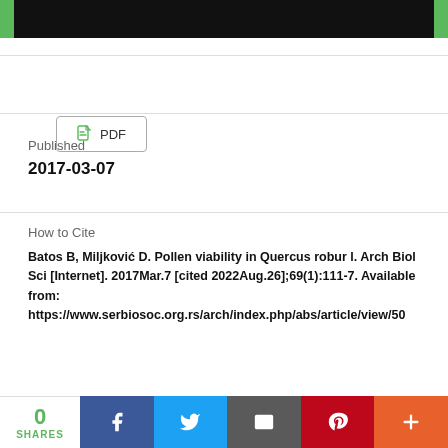[Figure (screenshot): Top banner with black background and green left/right accent bars]
PDF
Published
2017-03-07
How to Cite
Batos B, Miljković D. Pollen viability in Quercus robur l. Arch Biol Sci [Internet]. 2017Mar.7 [cited 2022Aug.26];69(1):111-7. Available from: https://www.serbiosoc.org.rs/arch/index.php/abs/article/view/50
More Citation Formats
0 SHARES